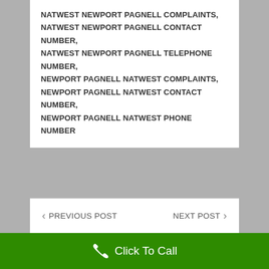NATWEST NEWPORT PAGNELL COMPLAINTS,
NATWEST NEWPORT PAGNELL CONTACT NUMBER,
NATWEST NEWPORT PAGNELL TELEPHONE NUMBER,
NEWPORT PAGNELL NATWEST COMPLAINTS,
NEWPORT PAGNELL NATWEST CONTACT NUMBER,
NEWPORT PAGNELL NATWEST PHONE NUMBER
< PREVIOUS POST
NEXT POST >
[Figure (illustration): Gray user avatar / profile silhouette icon]
NEWPORT PAGNELL NATWEST CONNECTION
Click To Call